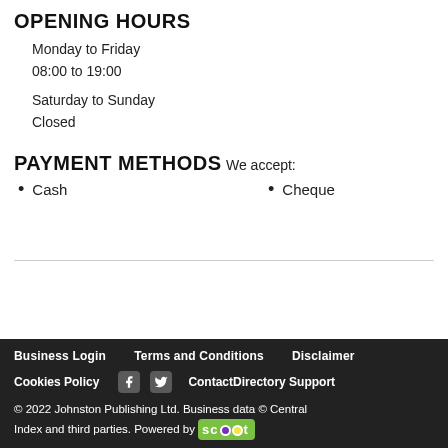OPENING HOURS
Monday to Friday
08:00 to 19:00
Saturday to Sunday
Closed
PAYMENT METHODS
We accept:
Cash
Cheque
Business Login   Terms and Conditions   Disclaimer   Cookies Policy   ContactDirectory Support   © 2022 Johnston Publishing Ltd. Business data © Central Index and third parties. Powered by scoot